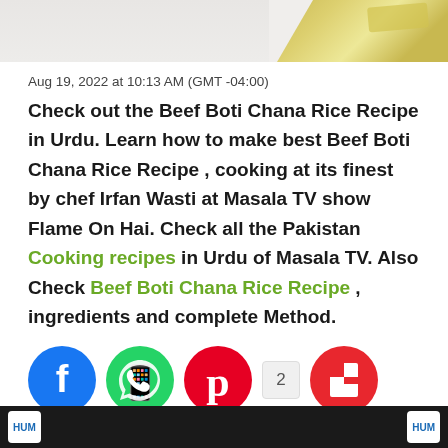[Figure (photo): Top partial image of food dish on white background with golden garnish in top-right corner]
Aug 19, 2022 at 10:13 AM (GMT -04:00)
Check out the Beef Boti Chana Rice Recipe in Urdu. Learn how to make best Beef Boti Chana Rice Recipe , cooking at its finest by chef Irfan Wasti at Masala TV show Flame On Hai. Check all the Pakistan Cooking recipes in Urdu of Masala TV. Also Check Beef Boti Chana Rice Recipe , ingredients and complete Method.
[Figure (other): Social media share icons: Facebook (blue circle), WhatsApp (green circle), Pinterest (red circle), share count 2, Flipboard (red circle with F)]
[Figure (screenshot): Bottom strip showing HUM TV logo on dark background]